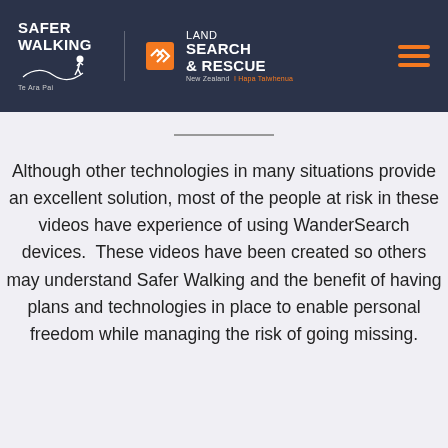[Figure (logo): Safer Walking Te Ara Pai logo (white text on dark background) and Land Search & Rescue New Zealand / Hapa Taiwhenua logo with orange diamond icon, on dark navy header with orange hamburger menu]
Although other technologies in many situations provide an excellent solution, most of the people at risk in these videos have experience of using WanderSearch devices. These videos have been created so others may understand Safer Walking and the benefit of having plans and technologies in place to enable personal freedom while managing the risk of going missing.